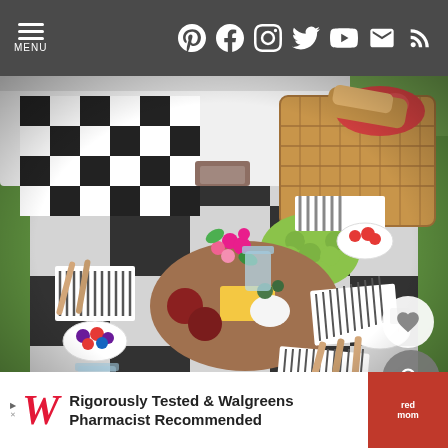MENU | Pinterest Facebook Instagram Twitter YouTube Email RSS
[Figure (photo): Outdoor picnic scene on a black and white buffalo check blanket on grass, featuring a charcuterie/cheese board, bowls of berries, fresh flowers, grapes, striped napkins, wooden utensils, and a wicker basket with food items and a white cooler in the background]
[Figure (other): Advertisement banner: Walgreens - Rigorously Tested & Walgreens Pharmacist Recommended]